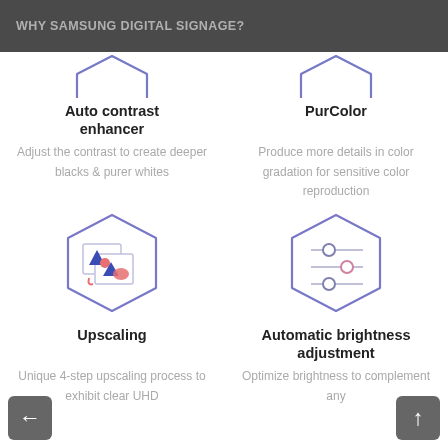WHY SAMSUNG DIGITAL SIGNAGE?
[Figure (illustration): Hexagon icon for Auto contrast enhancer (partially visible at top)]
[Figure (illustration): Hexagon icon for PurColor (partially visible at top)]
Auto contrast enhancer
Adjust the contrast to create deeper blacks & purer whites
PurColor
Produce more details in color gradation for sensitive color reproduction
[Figure (illustration): Hexagon icon with overlapping image frames and colorful shapes representing Upscaling]
[Figure (illustration): Hexagon icon with three horizontal sliders representing Automatic brightness adjustment]
Upscaling
Unique 4-step upscaling process to exhibit clear UHD
Automatic brightness adjustment
Optimize brightness to complement any